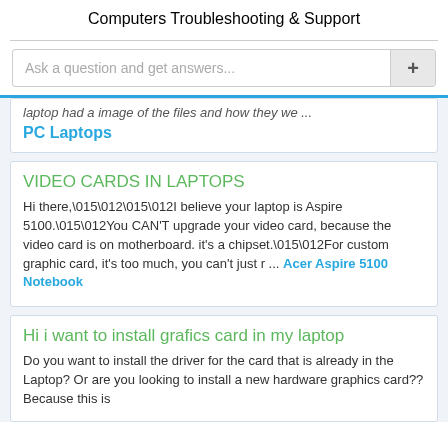Computers
Troubleshooting & Support
laptop had a image of the files and how they we ... PC Laptops
VIDEO CARDS IN LAPTOPS
Hi there,\015\012\015\012I believe your laptop is Aspire 5100.\015\012You CAN'T upgrade your video card, because the video card is on motherboard. it's a chipset.\015\012For custom graphic card, it's too much, you can't just r ... Acer Aspire 5100 Notebook
Hi i want to install grafics card in my laptop
Do you want to install the driver for the card that is already in the Laptop? Or are you looking to install a new hardware graphics card?? Because this is